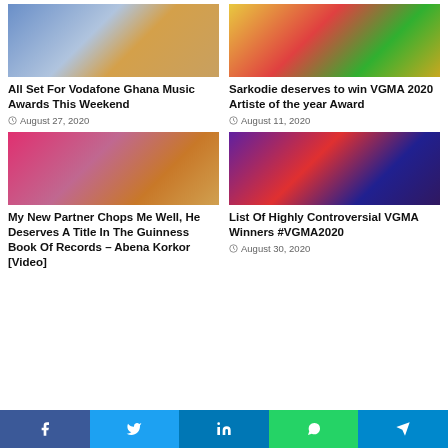[Figure (photo): Two people posing, man in white shirt and woman in yellow patterned dress]
[Figure (photo): Two men posing, one in colorful kente cloth]
All Set For Vodafone Ghana Music Awards This Weekend
August 27, 2020
Sarkodie deserves to win VGMA 2020 Artiste of the year Award
August 11, 2020
[Figure (photo): Two women posing, one in pink top]
[Figure (photo): VGMA 2020 promotional collage with artists]
My New Partner Chops Me Well, He Deserves A Title In The Guinness Book Of Records – Abena Korkor [Video]
List Of Highly Controversial VGMA Winners #VGMA2020
August 30, 2020